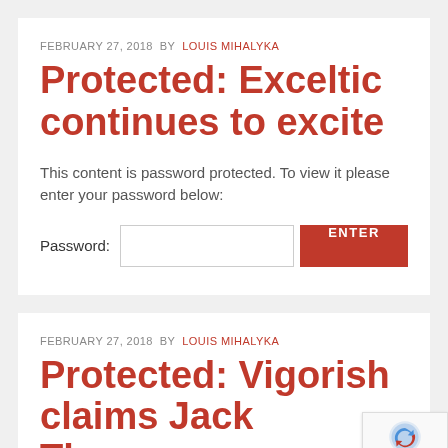FEBRUARY 27, 2018  BY  LOUIS MIHALYKA
Protected: Exceltic continues to excite
This content is password protected. To view it please enter your password below:
Password:  [input field]  ENTER
FEBRUARY 27, 2018  BY  LOUIS MIHALYKA
Protected: Vigorish claims Jack Thomas